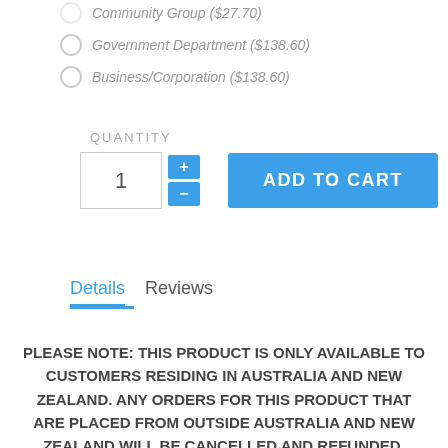Community Group ($27.70)
Government Department ($138.60)
Business/Corporation ($138.60)
QUANTITY
[Figure (screenshot): Quantity input box showing '1' with + and - buttons, and an ADD TO CART blue button]
Details   Reviews
PLEASE NOTE: THIS PRODUCT IS ONLY AVAILABLE TO CUSTOMERS RESIDING IN AUSTRALIA AND NEW ZEALAND. ANY ORDERS FOR THIS PRODUCT THAT ARE PLACED FROM OUTSIDE AUSTRALIA AND NEW ZEALAND WILL BE CANCELLED AND REFUNDED.